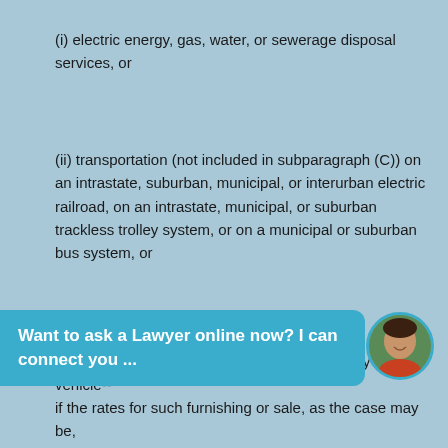(i) electric energy, gas, water, or sewerage disposal services, or
(ii) transportation (not included in subparagraph (C)) on an intrastate, suburban, municipal, or interurban electric railroad, on an intrastate, municipal, or suburban trackless trolley system, or on a municipal or suburban bus system, or
(iii) transportation (not included in clause (ii)) by motor vehicle--
if the rates for such furnishing or sale, as the case may be,